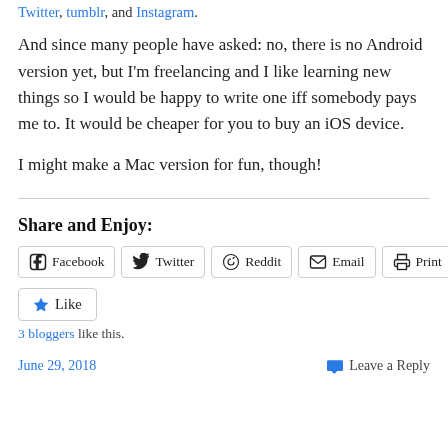Twitter, tumblr, and Instagram.
And since many people have asked: no, there is no Android version yet, but I'm freelancing and I like learning new things so I would be happy to write one iff somebody pays me to. It would be cheaper for you to buy an iOS device.
I might make a Mac version for fun, though!
Share and Enjoy:
Facebook  Twitter  Reddit  Email  Print
Like
3 bloggers like this.
June 29, 2018    Leave a Reply